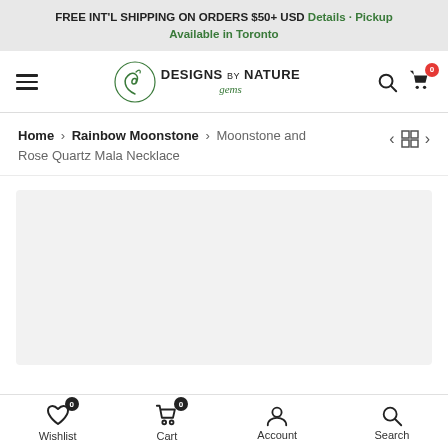FREE INT'L SHIPPING ON ORDERS $50+ USD Details · Pickup Available in Toronto
[Figure (logo): Designs by Nature Gems logo with spiral leaf icon and text]
Home > Rainbow Moonstone > Moonstone and Rose Quartz Mala Necklace
[Figure (photo): Product image area placeholder (light gray background)]
Wishlist 0 | Cart 0 | Account | Search